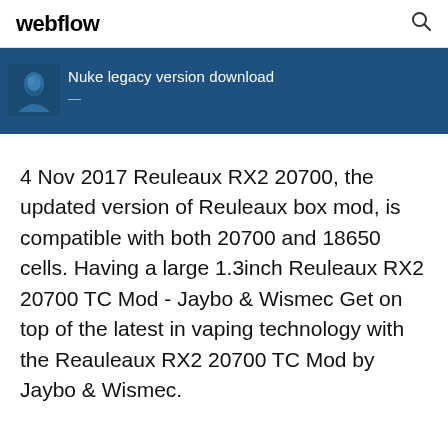webflow
Nuke legacy version download
4 Nov 2017 Reuleaux RX2 20700, the updated version of Reuleaux box mod, is compatible with both 20700 and 18650 cells. Having a large 1.3inch Reuleaux RX2 20700 TC Mod - Jaybo & Wismec Get on top of the latest in vaping technology with the Reauleaux RX2 20700 TC Mod by Jaybo & Wismec.